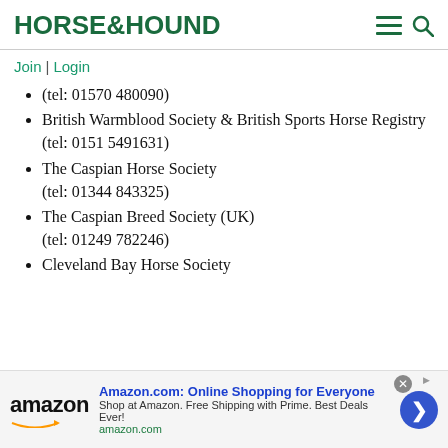HORSE&HOUND
Join | Login
(tel: 01570 480090)
British Warmblood Society & British Sports Horse Registry
(tel: 0151 5491631)
The Caspian Horse Society
(tel: 01344 843325)
The Caspian Breed Society (UK)
(tel: 01249 782246)
Cleveland Bay Horse Society
[Figure (infographic): Amazon advertisement banner: Amazon logo with arrow, text 'Amazon.com: Online Shopping for Everyone. Shop at Amazon. Free Shipping with Prime. Best Deals Ever! amazon.com', blue circular arrow button, close X button]